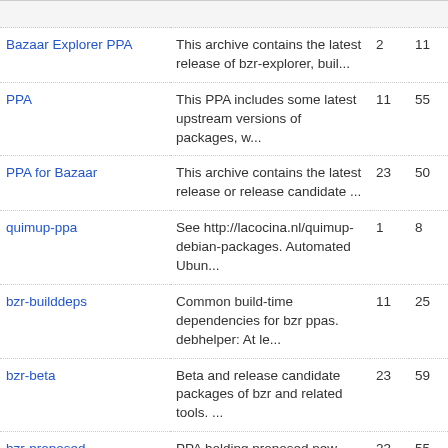|  |  |  |  |
| --- | --- | --- | --- |
| Bazaar Explorer PPA | This archive contains the latest release of bzr-explorer, buil... | 2 | 11 |
| PPA | This PPA includes some latest upstream versions of packages, w... | 11 | 55 |
| PPA for Bazaar | This archive contains the latest release or release candidate ... | 23 | 50 |
| quimup-ppa | See http://lacocina.nl/quimup-debian-packages. Automated Ubun... | 1 | 8 |
| bzr-builddeps | Common build-time dependencies for bzr ppas. debhelper: At le... | 11 | 25 |
| bzr-beta | Beta and release candidate packages of bzr and related tools. ... | 23 | 59 |
| bzr-proposed | PPA holding proposed new packages for the bzr stable archive (... | 23 | 55 |
| Development packages of bzr-builder | This PPA contains development packages of bzr-builder for ppa... | 3 | 9 |